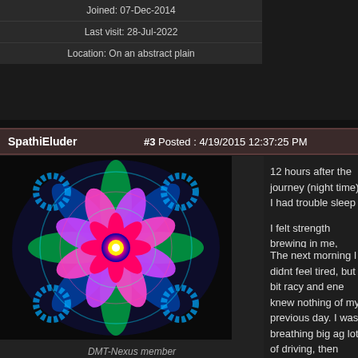Joined: 07-Dec-2014
Last visit: 28-Jul-2022
Location: On an abstract plain
#3 Posted : 4/19/2015 12:37:25 PM
SpathiEluder
[Figure (illustration): Colorful psychedelic mandala pattern with blues, greens, purples, and pinks on black background]
DMT-Nexus member
Posts: 84
Joined: 07-Dec-2014
Last visit: 28-Jul-2022
Location: On an abstract plain
12 hours after the journey (night time) I had trouble sleep
I felt strength brewing in me, heavy, clean breathing agai
Unfortunately the following day (today) I had a very early sleep - I very reluctantly popped a valium to allow myself
The next morning I didnt feel tired, but a bit racy and ene knew nothing of my previous day. I was breathing big ag lot of driving, then sitting in a small boat watching dolphi On the long drive down the swaying trees were pulsing t (a new friend) was completely non-judgemental and very It was the complete opposite, I was so tired, but it was th
patterns (through everybodys eyes 😊 and being aroun I noticed then that the aqua/light blue to dark blue that is and everything around was bringing joy and a rekindled l during ?? 😊